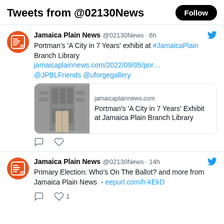Tweets from @02130News
Jamaica Plain News @02130News · 6h
Portman's 'A City in 7 Years' exhibit at #JamaicaPlain Branch Library jamaicaplainnews.com/2022/09/05/por... @JPBLFriends @uforgegallery
[Figure (screenshot): Link card showing a library interior image with text: jamaicaplainnews.com / Portman's 'A City in 7 Years' Exhibit at Jamaica Plain Branch Library]
Jamaica Plain News @02130News · 14h
Primary Election: Who's On The Ballot? and more from Jamaica Plain News - eepurl.com/h-kEkD